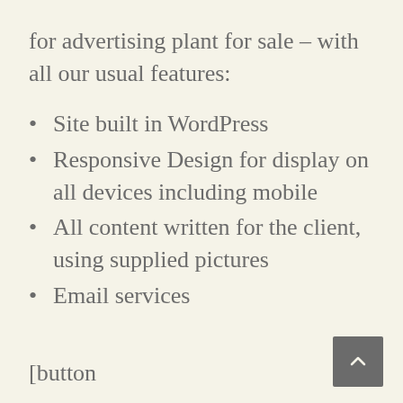for advertising plant for sale – with all our usual features:
Site built in WordPress
Responsive Design for display on all devices including mobile
All content written for the client, using supplied pictures
Email services
[button